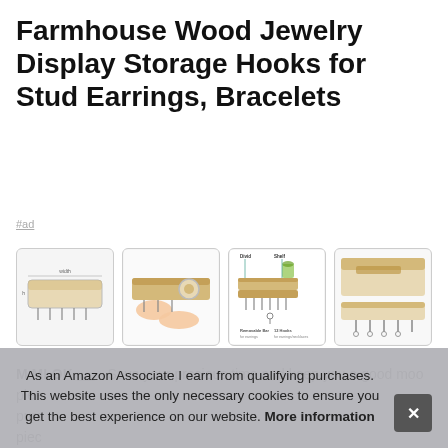Farmhouse Wood Jewelry Display Storage Hooks for Stud Earrings, Bracelets
#ad
[Figure (photo): Four product images of a farmhouse wood jewelry display storage unit with hooks for earrings and bracelets]
M MLOK #ad - Save your precious time and keep you a good mood please purch piec bar.
As an Amazon Associate I earn from qualifying purchases. This website uses the only necessary cookies to ensure you get the best experience on our website. More information